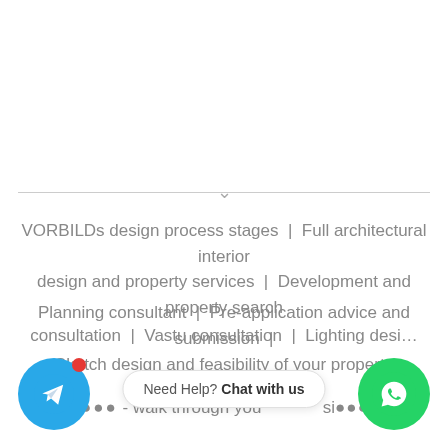VORBILDs design process stages  |  Full architectural interior design and property services  |  Development and property search
Planning consultant  |  Pre-application advice and submission  |
Sketch design and feasibility of your property
V - walk through you ... si... g
consultation  |  Vastu consultation  |  Lighting desi...
Need Help? Chat with us